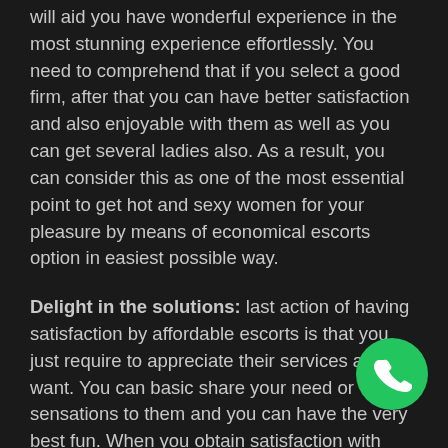will aid you have wonderful experience in the most stunning experience effortlessly. You need to comprehend that if you select a good firm, after that you can have better satisfaction and also enjoyable with them as well as you can get several ladies also. As a result, you can consider this as one of the most essential point to get hot and sexy women for your pleasure by means of economical escorts option in easiest possible way.
Delight in the solutions: last action of having satisfaction by affordable escorts is that you just require to appreciate their services as you want. You can basic share your need or sensations to them and you can have the very best fun. When you obtain satisfaction with them, after that it is likewise crucial you comply with all the policies as well as pointers given by the inexpensive escorts company. These preventative measures will assist you get wonderful
[Figure (other): Green circular phone/call button icon in bottom-right corner]